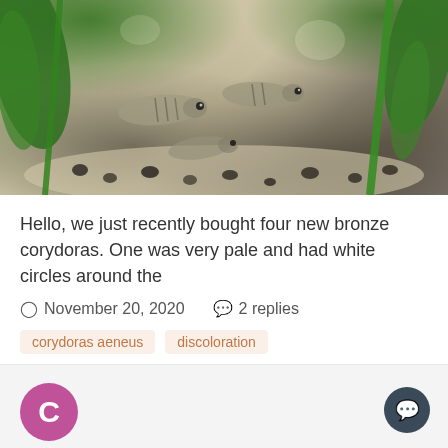[Figure (photo): Photograph of bronze corydoras fish in an aquarium with sand, pebbles, and green aquatic plants]
Hello, we just recently bought four new bronze corydoras. One was very pale and had white circles around the
November 20, 2020   2 replies
corydoras aeneus   discoloration
[Figure (logo): Pink circle avatar with white letter C]
White discolored areas on rainbowfish hump
Can be seen as dots in Rio...